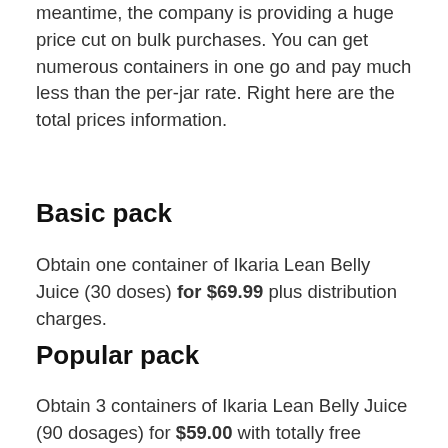meantime, the company is providing a huge price cut on bulk purchases. You can get numerous containers in one go and pay much less than the per-jar rate. Right here are the total prices information.
Basic pack
Obtain one container of Ikaria Lean Belly Juice (30 doses) for $69.99 plus distribution charges.
Popular pack
Obtain 3 containers of Ikaria Lean Belly Juice (90 dosages) for $59.00 with totally free shipment.